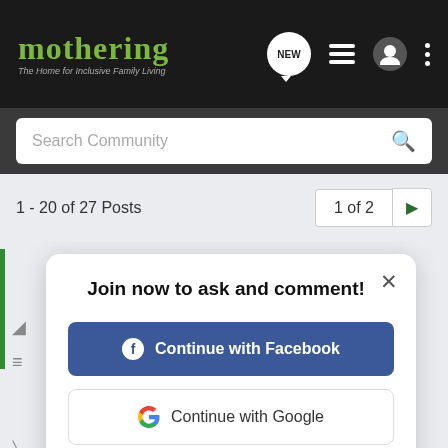mothering – The Home for Inclusive Family Living
Search Community
1 - 20 of 27 Posts
1 of 2
[Figure (screenshot): Modal dialog with title 'Join now to ask and comment!' and options to Continue with Facebook, Continue with Google, or sign up with email]
Join now to ask and comment!
Continue with Facebook
Continue with Google
or sign up with email